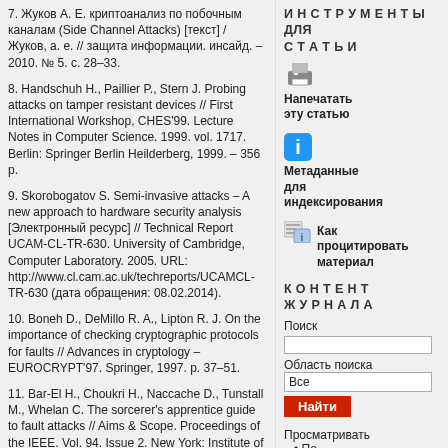7. Жуков А. Е. криптоанализ по побочным каналам (Side Channel Attacks) [текст] / Жуков, а. е. // защита информации. инсайд. – 2010. № 5. с. 28–33.
8. Handschuh H., Paillier P., Stern J. Probing attacks on tamper resistant devices // First International Workshop, CHES'99. Lecture Notes in Computer Science. 1999. vol. 1717. Berlin: Springer Berlin Heilderberg, 1999. – 356 p.
9. Skorobogatov S. Semi-invasive attacks – A new approach to hardware security analysis [Электронный ресурс] // Technical Report UCAM-CL-TR-630. University of Cambridge, Computer Laboratory. 2005. URL: http://www.cl.cam.ac.uk/techreports/UCAMCL-TR-630 (дата обращения: 08.02.2014).
10. Boneh D., DeMillo R. A., Lipton R. J. On the importance of checking cryptographic protocols for faults // Advances in cryptology – EUROCRYPT'97. Springer, 1997. p. 37–51.
11. Bar-El H., Choukri H., Naccache D., Tunstall M., Whelan C. The sorcerer's apprentice guide to fault attacks // Aims & Scope. Proceedings of the IEEE. Vol. 94. Issue 2. New York: Institute of Electrical and Electronics Engineering, Inc. 2006. – 484 p.
ИНСТРУМЕНТЫ ДЛЯ СТАТЬИ
Напечатать эту статью
Метаданные для индексирования
Как процитировать материал
КОНТЕНТ ЖУРНАЛА
Поиск
Область поиска
Все
Найти
Просматривать
По